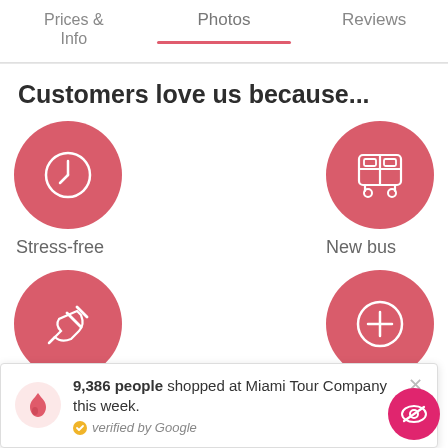Prices & Info | Photos | Reviews
Customers love us because...
[Figure (infographic): Four circular pink icons representing features: clock (Stress-free), bus (New bus), power plug, and plus sign]
Stress-free
New bus
9,386 people shopped at Miami Tour Company this week.
verified by Google